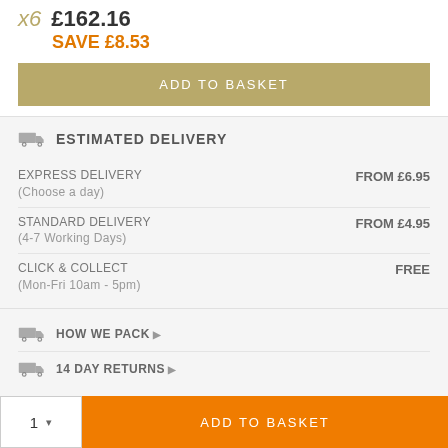x6 £162.16 SAVE £8.53
ADD TO BASKET
ESTIMATED DELIVERY
| Delivery Type | Price |
| --- | --- |
| EXPRESS DELIVERY (Choose a day) | FROM £6.95 |
| STANDARD DELIVERY (4-7 Working Days) | FROM £4.95 |
| CLICK & COLLECT (Mon-Fri 10am - 5pm) | FREE |
HOW WE PACK
14 DAY RETURNS
A gorgeous elderflower liqueur. Delicious chilled on the
1 ADD TO BASKET